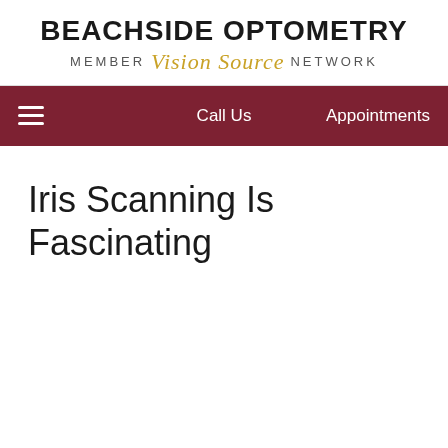BEACHSIDE OPTOMETRY MEMBER Vision Source NETWORK
≡  Call Us  Appointments
Iris Scanning Is Fascinating